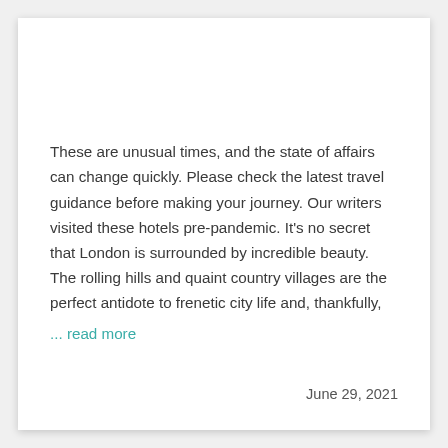These are unusual times, and the state of affairs can change quickly. Please check the latest travel guidance before making your journey. Our writers visited these hotels pre-pandemic. It's no secret that London is surrounded by incredible beauty. The rolling hills and quaint country villages are the perfect antidote to frenetic city life and, thankfully,
... read more
June 29, 2021